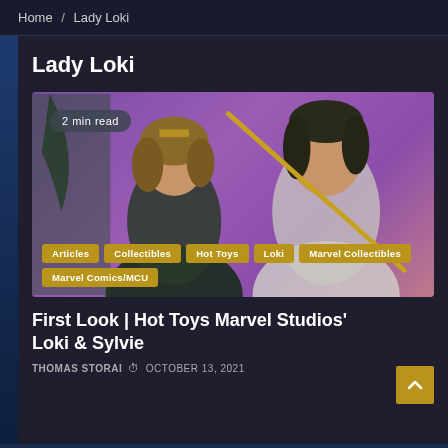Home / Lady Loki
Lady Loki
[Figure (photo): Hot Toys Marvel Studios Loki and Sylvie action figures in front of purple background. Badge shows '2 min read'. Tags: Articles, Collectibles, Hot Toys, Loki, Marvel Collectibles, Marvel Comics/MCU]
First Look | Hot Toys Marvel Studios' Loki & Sylvie
THOMAS STORAI  OCTOBER 13, 2021